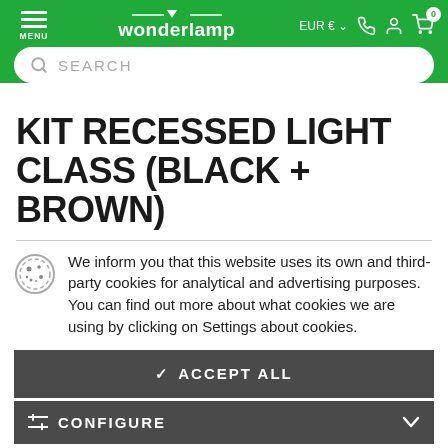wonderlamp — MENU | EUR € | Search bar
KIT RECESSED LIGHT CLASS (BLACK + BROWN)
We inform you that this website uses its own and third-party cookies for analytical and advertising purposes. You can find out more about what cookies we are using by clicking on Settings about cookies.
✓ ACCEPT ALL
≡ CONFIGURE